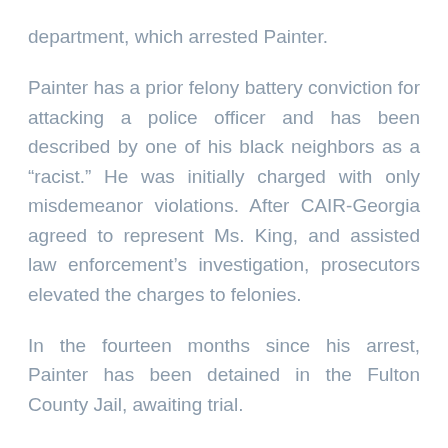department, which arrested Painter.
Painter has a prior felony battery conviction for attacking a police officer and has been described by one of his black neighbors as a “racist.” He was initially charged with only misdemeanor violations. After CAIR-Georgia agreed to represent Ms. King, and assisted law enforcement’s investigation, prosecutors elevated the charges to felonies.
In the fourteen months since his arrest, Painter has been detained in the Fulton County Jail, awaiting trial.
SEE: Food Delivery Woman Speaks Out After Being